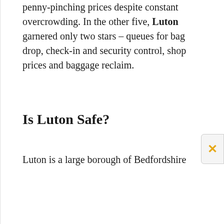penny-pinching prices despite constant overcrowding. In the other five, Luton garnered only two stars – queues for bag drop, check-in and security control, shop prices and baggage reclaim.
Is Luton Safe?
Luton is a large borough of Bedfordshire